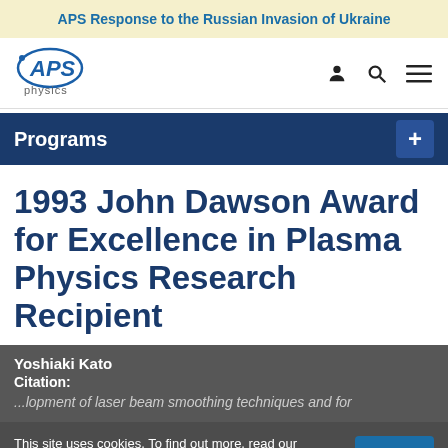APS Response to the Russian Invasion of Ukraine
[Figure (logo): APS Physics logo with circular arc and 'physics' text below]
Programs
1993 John Dawson Award for Excellence in Plasma Physics Research Recipient
Yoshiaki Kato
Citation:
...lopment of laser beam smoothing techniques and for
This site uses cookies. To find out more, read our Privacy Policy.